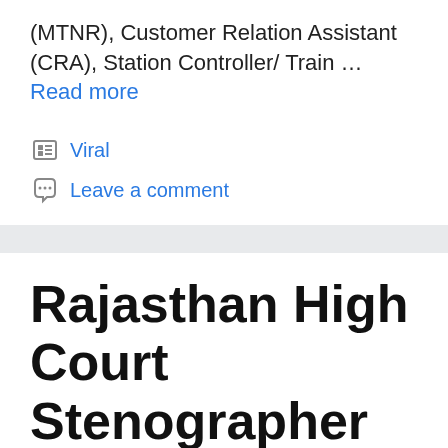(MTNR), Customer Relation Assistant (CRA), Station Controller/ Train … Read more
Viral
Leave a comment
Rajasthan High Court Stenographer Interview Call Letter 2021
August 27, 2022 by T…